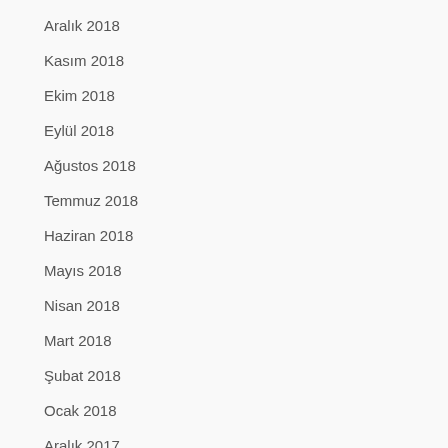Aralık 2018
Kasım 2018
Ekim 2018
Eylül 2018
Ağustos 2018
Temmuz 2018
Haziran 2018
Mayıs 2018
Nisan 2018
Mart 2018
Şubat 2018
Ocak 2018
Aralık 2017
Kasım 2017
Ekim 2017